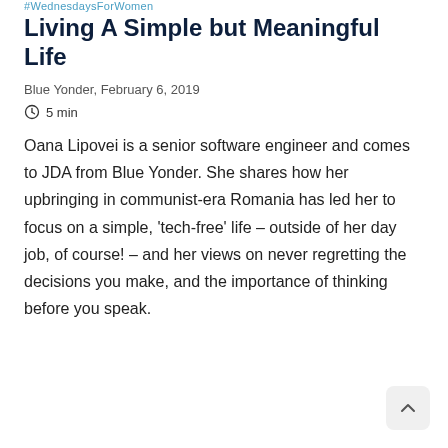#WednesdaysForWomen
Living A Simple but Meaningful Life
Blue Yonder, February 6, 2019
5 min
Oana Lipovei is a senior software engineer and comes to JDA from Blue Yonder. She shares how her upbringing in communist-era Romania has led her to focus on a simple, 'tech-free' life – outside of her day job, of course! – and her views on never regretting the decisions you make, and the importance of thinking before you speak.